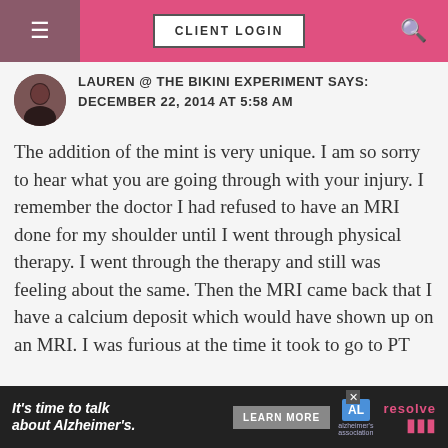CLIENT LOGIN
LAUREN @ THE BIKINI EXPERIMENT SAYS:
DECEMBER 22, 2014 AT 5:58 AM
The addition of the mint is very unique. I am so sorry to hear what you are going through with your injury. I remember the doctor I had refused to have an MRI done for my shoulder until I went through physical therapy. I went through the therapy and still was feeling about the same. Then the MRI came back that I have a calcium deposit which would have shown up on an MRI. I was furious at the time it took to go to PT
It's time to talk about Alzheimer's. LEARN MORE